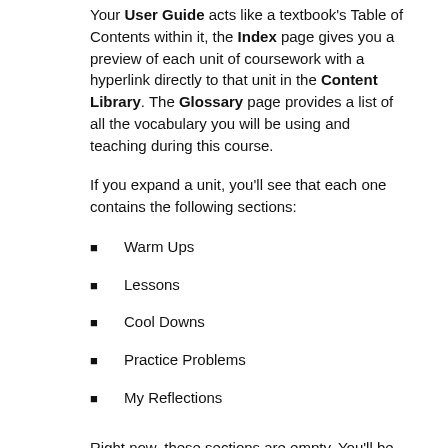Your User Guide acts like a textbook's Table of Contents within it, the Index page gives you a preview of each unit of coursework with a hyperlink directly to that unit in the Content Library. The Glossary page provides a list of all the vocabulary you will be using and teaching during this course.
If you expand a unit, you'll see that each one contains the following sections:
Warm Ups
Lessons
Cool Downs
Practice Problems
My Reflections
Right now, these sections are empty. You'll be populating them with content depending on when you'd like your students to access each unit's course content.
1. Teacher-Only section group